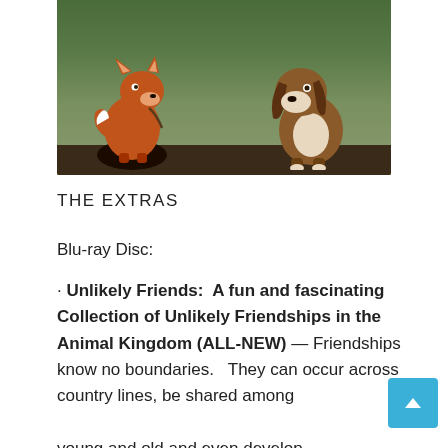[Figure (illustration): Animated cartoon image of a red fox and a brown hound dog facing each other outdoors, from Disney's The Fox and the Hound]
THE EXTRAS
Blu-ray Disc:
· Unlikely Friends:  A fun and fascinating Collection of Unlikely Friendships in the Animal Kingdom (ALL-NEW) — Friendships know no boundaries.   They can occur across country lines, be shared among young and old and even develop